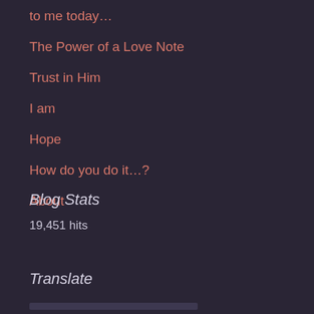to me today…
The Power of a Love Note
Trust in Him
I am
Hope
How do you do it…?
About
Blog Stats
19,451 hits
Translate